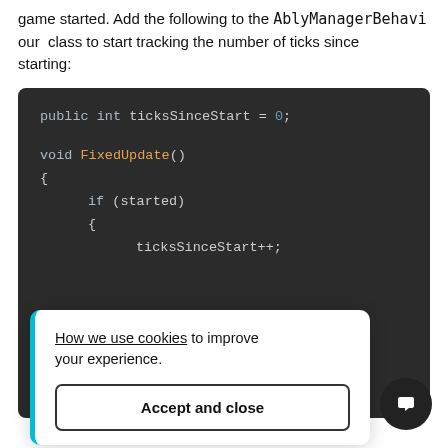game started. Add the following to the AblyManagerBehaviour class to start tracking the number of ticks since starting:
[Figure (screenshot): Code block on dark background showing C# code: public int ticksSinceStart = 0; void FixedUpdate() { if (started) { ticksSinceStart++;]
How we use cookies to improve your experience.
Accept and close
ne start ti
p attac
hange the ar